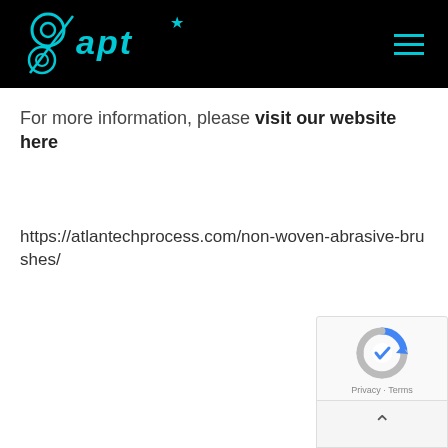[Figure (logo): APT logo in cyan/teal on black background with hamburger menu icon on the right]
For more information, please visit our website here
https://atlantechprocess.com/non-woven-abrasive-brushes/
[Figure (other): reCAPTCHA widget with Privacy and Terms links]
[Figure (other): Scroll to top chevron button]